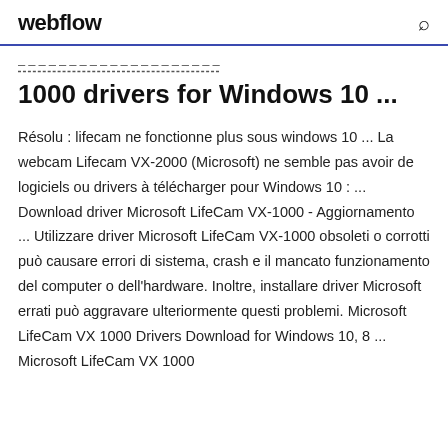webflow
– – – – – – – – – – – – – – – – – – – – –
1000 drivers for Windows 10 ...
Résolu : lifecam ne fonctionne plus sous windows 10 ... La webcam Lifecam VX-2000 (Microsoft) ne semble pas avoir de logiciels ou drivers à télécharger pour Windows 10 : ... Download driver Microsoft LifeCam VX-1000 - Aggiornamento ... Utilizzare driver Microsoft LifeCam VX-1000 obsoleti o corrotti può causare errori di sistema, crash e il mancato funzionamento del computer o dell'hardware. Inoltre, installare driver Microsoft errati può aggravare ulteriormente questi problemi. Microsoft LifeCam VX 1000 Drivers Download for Windows 10, 8 ... Microsoft LifeCam VX 1000